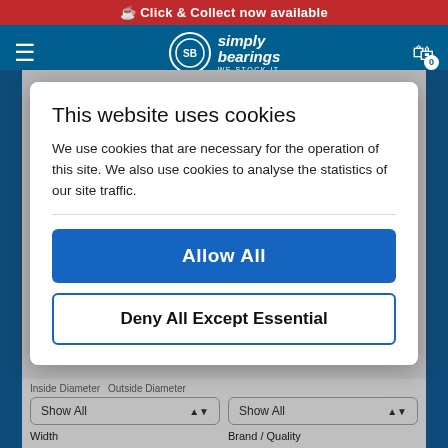Click & Collect now available
[Figure (screenshot): Simply Bearings logo in navigation bar with hamburger menu and shopping cart]
This website uses cookies
We use cookies that are necessary for the operation of this site. We also use cookies to analyse the statistics of our site traffic.
Allow All
Deny All Except Essential
Inside Diameter
Outside Diameter
Show All
Show All
Width
Brand / Quality